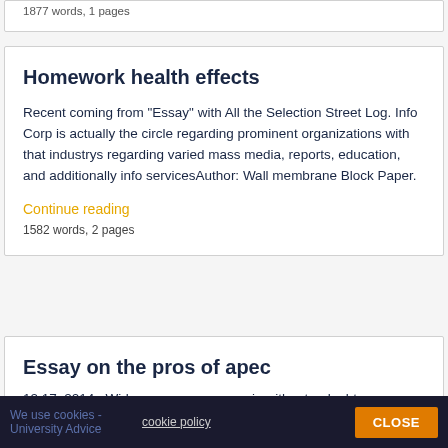1877 words, 1 pages
Homework health effects
Recent coming from "Essay" with All the Selection Street Log. Info Corp is actually the circle regarding prominent organizations with that industrys regarding varied mass media, reports, education, and additionally info servicesAuthor: Wall membrane Block Paper.
Continue reading
1582 words, 2 pages
Essay on the pros of apec
12 17, 2014 · Wide open easy access is without a doubt a new motion towards help to make even more of these
We use cookies - University Advice cookie policy CLOSE